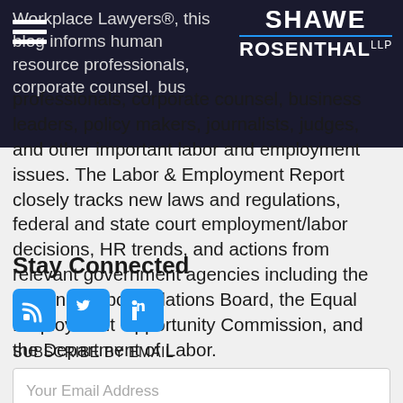[Figure (logo): Shawe Rosenthal LLP law firm logo with blue divider line, white text on dark background]
Workplace Lawyers®, this blog informs human resource professionals, corporate counsel, business leaders, policy makers, journalists, judges, and other important labor and employment issues. The Labor & Employment Report closely tracks new laws and regulations, federal and state court employment/labor decisions, HR trends, and actions from relevant government agencies including the National Labor Relations Board, the Equal Employment Opportunity Commission, and the Department of Labor.
Stay Connected
[Figure (infographic): Social media icons: RSS feed (blue), Twitter (blue), LinkedIn (blue)]
SUBSCRIBE BY EMAIL
Your Email Address
GO